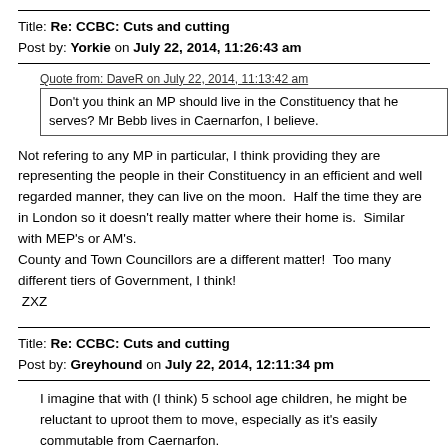Title: Re: CCBC: Cuts and cutting
Post by: Yorkie on July 22, 2014, 11:26:43 am
Quote from: DaveR on July 22, 2014, 11:13:42 am
Don't you think an MP should live in the Constituency that he serves? Mr Bebb lives in Caernarfon, I believe.
Not refering to any MP in particular, I think providing they are representing the people in their Constituency in an efficient and well regarded manner, they can live on the moon.  Half the time they are in London so it doesn't really matter where their home is.  Similar with MEP's or AM's.
County and Town Councillors are a different matter!  Too many different tiers of Government, I think!
 ZXZ
Title: Re: CCBC: Cuts and cutting
Post by: Greyhound on July 22, 2014, 12:11:34 pm
I imagine that with (I think) 5 school age children, he might be reluctant to uproot them to move, especially as it's easily commutable from Caernarfon.
My own view is that if they're serving it well then it's probably not necessary to move. I also think that, as with teachers, it's pretty beneficial for your own sanity not to live in the immediate area as people could turn up at your house at all hours and